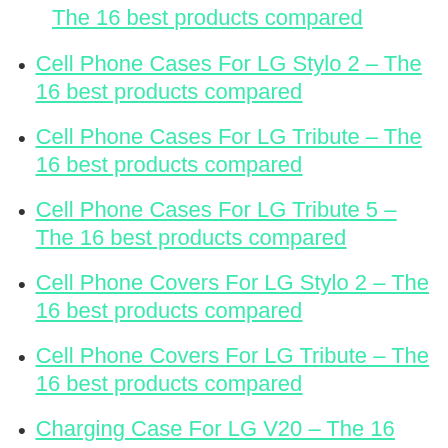The 16 best products compared
Cell Phone Cases For LG Stylo 2 – The 16 best products compared
Cell Phone Cases For LG Tribute – The 16 best products compared
Cell Phone Cases For LG Tribute 5 – The 16 best products compared
Cell Phone Covers For LG Stylo 2 – The 16 best products compared
Cell Phone Covers For LG Tribute – The 16 best products compared
Charging Case For LG V20 – The 16 best products compared